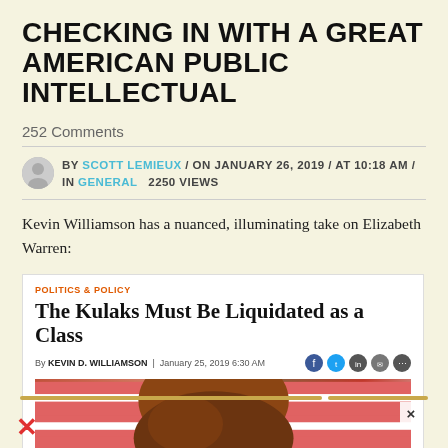CHECKING IN WITH A GREAT AMERICAN PUBLIC INTELLECTUAL
252 Comments
BY SCOTT LEMIEUX / ON JANUARY 26, 2019 / AT 10:18 AM / IN GENERAL   2250 VIEWS
Kevin Williamson has a nuanced, illuminating take on Elizabeth Warren:
[Figure (screenshot): Embedded article screenshot from National Review showing article titled 'The Kulaks Must Be Liquidated as a Class' by Kevin D. Williamson, January 25, 2019, with a photo of a woman with brown hair in front of an American flag background. Category label 'POLITICS & POLICY' shown in orange.]